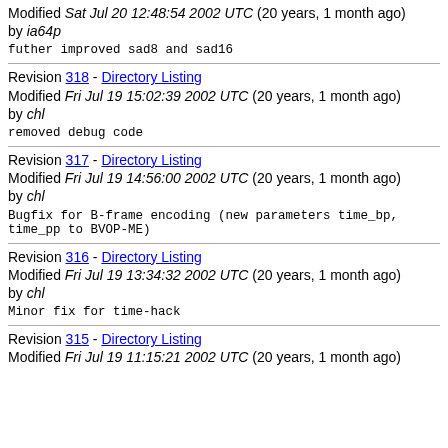Modified Sat Jul 20 12:48:54 2002 UTC (20 years, 1 month ago) by ia64p
futher improved sad8 and sad16
Revision 318 - Directory Listing
Modified Fri Jul 19 15:02:39 2002 UTC (20 years, 1 month ago) by chl
removed debug code
Revision 317 - Directory Listing
Modified Fri Jul 19 14:56:00 2002 UTC (20 years, 1 month ago) by chl
Bugfix for B-frame encoding (new parameters time_bp, time_pp to BVOP-ME)
Revision 316 - Directory Listing
Modified Fri Jul 19 13:34:32 2002 UTC (20 years, 1 month ago) by chl
Minor fix for time-hack
Revision 315 - Directory Listing
Modified Fri Jul 19 11:15:21 2002 UTC (20 years, 1 month ago)